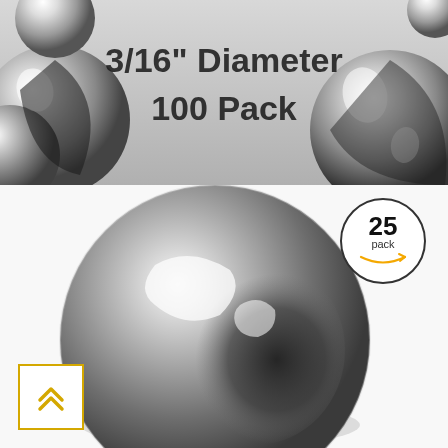[Figure (photo): Product image strip showing multiple chrome/steel balls with text overlay '3/16" Diameter 100 Pack' in dark gray on light background]
[Figure (photo): Large close-up render of a single polished chrome steel ball with reflections, on white background]
[Figure (logo): Circular badge reading '25 pack' with Amazon smile arrow beneath, black border on white background]
[Figure (other): Yellow-bordered square button with double upward chevron arrow icon in yellow/gold color, bottom left corner]